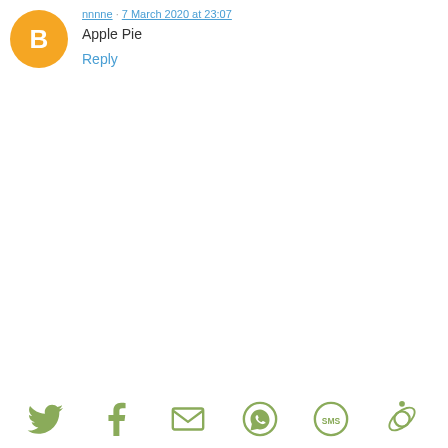[Figure (illustration): Orange Blogger avatar circle icon with white 'B' letter]
Apple Pie
Reply
[Figure (infographic): Social sharing bar with icons: Twitter bird, Facebook f, Email envelope, WhatsApp phone, SMS speech bubble, Share/orbit icon — all in muted olive-green color]